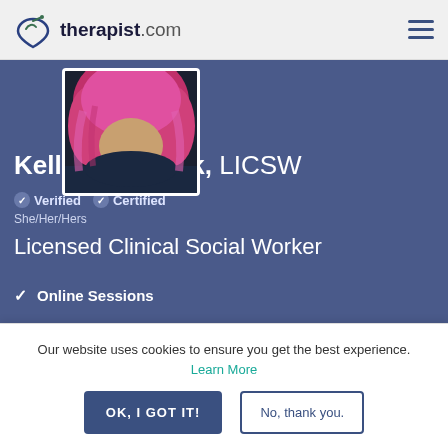therapist.com
[Figure (photo): Profile photo of Kelly Broderick with pink/red curly hair against dark background]
Kelly Broderick, LICSW
Verified   Certified
She/Her/Hers
Licensed Clinical Social Worker
✓ Online Sessions
• Accepting New Patients
Our website uses cookies to ensure you get the best experience. Learn More
OK, I GOT IT!   No, thank you.